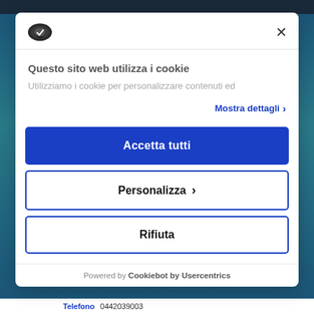[Figure (screenshot): Cookie consent modal dialog on an Italian website. Contains a cookie logo, close button (×), title 'Questo sito web utilizza i cookie', description text 'Utilizziamo i cookie per personalizzare contenuti ed', a 'Mostra dettagli' link, three buttons: 'Accetta tutti' (blue filled), 'Personalizza >' (outlined), 'Rifiuta' (outlined), and a footer 'Powered by Cookiebot by Usercentrics'. At the bottom a partial contact row showing 'Telefono 0442039003'.]